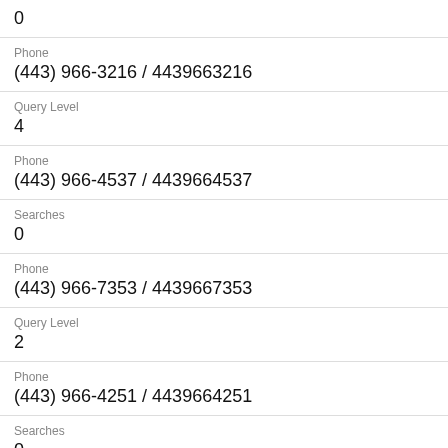0
Phone
(443) 966-3216 / 4439663216
Query Level
4
Phone
(443) 966-4537 / 4439664537
Searches
0
Phone
(443) 966-7353 / 4439667353
Query Level
2
Phone
(443) 966-4251 / 4439664251
Searches
0
Phone